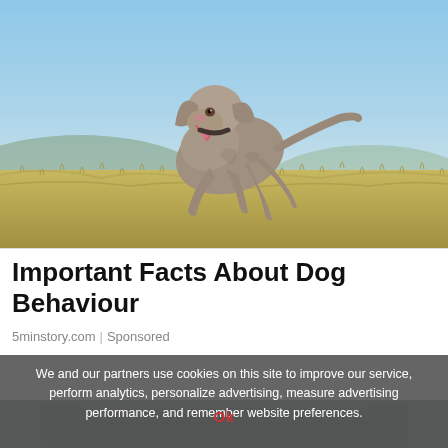[Figure (photo): A grey Weimaraner dog running joyfully across a grassy field with blue sky in background, tongue out, mid-stride]
Important Facts About Dog Behaviour
5minstory.com | Sponsored
We and our partners use cookies on this site to improve our service, perform analytics, personalize advertising, measure advertising performance, and remember website preferences.
Ok